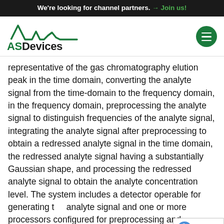We're looking for channel partners. → Join us!
[Figure (logo): ASDevices logo with stylized waveform graphic above the text 'ASDevices' in green and black]
representative of the gas chromatography elution peak in the time domain, converting the analyte signal from the time-domain to the frequency domain, in the frequency domain, preprocessing the analyte signal to distinguish frequencies of the analyte signal, integrating the analyte signal after preprocessing to obtain a redressed analyte signal in the time domain, the redressed analyte signal having a substantially Gaussian shape, and processing the redressed analyte signal to obtain the analyte concentration level. The system includes a detector operable for generating the analyte signal and one or more processors configured for preprocessing and integrating the analyte signal to obtain the analyte concentration level.